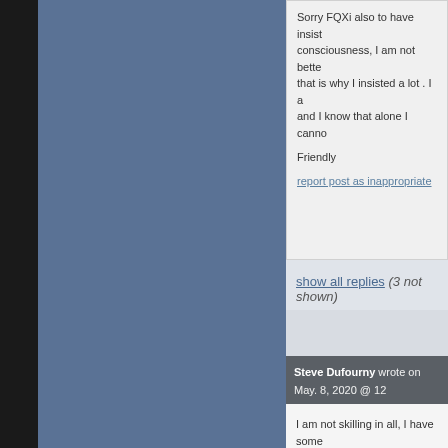Sorry FQXi also to have insisted on consciousness, I am not better than that is why I insisted a lot . I am and I know that alone I cannot
Friendly
report post as inappropriate
show all replies (3 not shown)
Steve Dufourny wrote on May. 8, 2020 @ 12
I am not skilling in all, I have some me shall explain their ideas in othe
My ideas are simple to convice this make with our actual parameters. T
view entire post